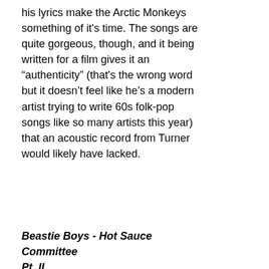his lyrics make the Arctic Monkeys something of it's time. The songs are quite gorgeous, though, and it being written for a film gives it an “authenticity” (that's the wrong word but it doesn’t feel like he’s a modern artist trying to write 60s folk-pop songs like so many artists this year) that an acoustic record from Turner would likely have lacked.
Beastie Boys - Hot Sauce Committee Pt. II